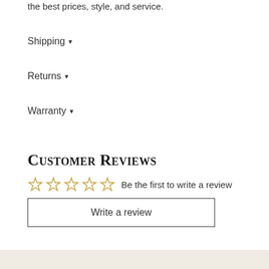the best prices, style, and service.
Shipping ▼
Returns ▼
Warranty ▼
Customer Reviews
☆☆☆☆☆ Be the first to write a review
Write a review